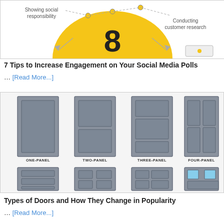[Figure (infographic): Partial infographic showing 'Showing social responsibility' and 'Conducting customer research' labels with arrows around a yellow semicircle containing the number 8]
7 Tips to Increase Engagement on Your Social Media Polls
... [Read More...]
[Figure (illustration): Illustration showing types of doors: ONE-PANEL, TWO-PANEL, THREE-PANEL, FOUR-PANEL in top row, and four more door types in bottom row including one with blue windows]
Types of Doors and How They Change in Popularity
... [Read More...]